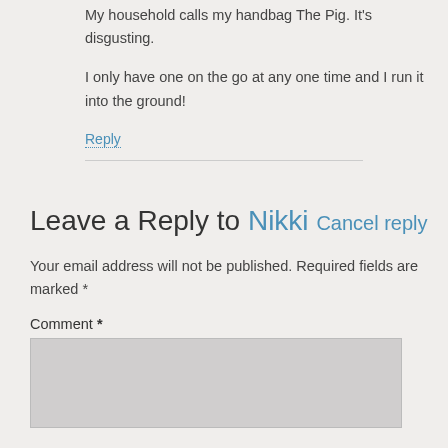My household calls my handbag The Pig. It's disgusting.
I only have one on the go at any one time and I run it into the ground!
Reply
Leave a Reply to Nikki Cancel reply
Your email address will not be published. Required fields are marked *
Comment *